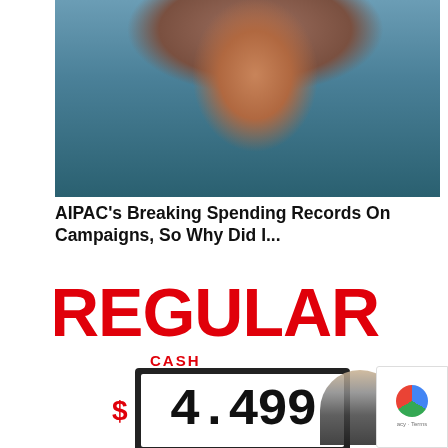[Figure (photo): Portrait photo of a woman wearing a headscarf and large hoop earrings, smiling, with a blurred background]
AIPAC's Breaking Spending Records On Campaigns, So Why Did I...
[Figure (photo): Gas station price sign showing REGULAR CASH $4.499 with a person in the background pointing]
[Figure (other): reCAPTCHA badge in the bottom right corner with privacy and terms text]